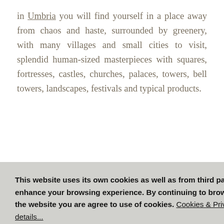in Umbria you will find yourself in a place away from chaos and haste, surrounded by greenery, with many villages and small cities to visit, splendid human-sized masterpieces with squares, fortresses, castles, churches, palaces, towers, bell towers, landscapes, festivals and typical products.
This website uses its own cookies as well as from third parties to enhance your browsing experience. By continuing to browse through the website you are agree to use of cookies. Cookies & Privacy Policy details...
its geographical position and environmental